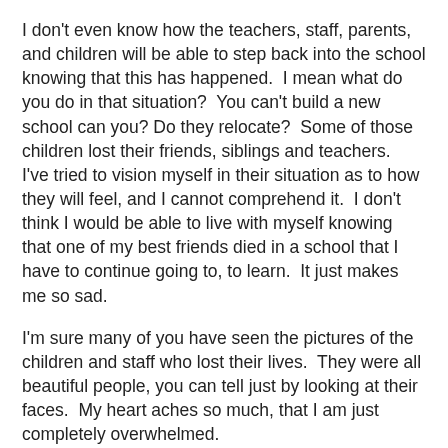I don't even know how the teachers, staff, parents, and children will be able to step back into the school knowing that this has happened.  I mean what do you do in that situation?  You can't build a new school can you? Do they relocate?  Some of those children lost their friends, siblings and teachers.  I've tried to vision myself in their situation as to how they will feel, and I cannot comprehend it.  I don't think I would be able to live with myself knowing that one of my best friends died in a school that I have to continue going to, to learn.  It just makes me so sad.
I'm sure many of you have seen the pictures of the children and staff who lost their lives.  They were all beautiful people, you can tell just by looking at their faces.  My heart aches so much, that I am just completely overwhelmed.
This tragedy has shocked many of us all around the world, and even though many of us are sad, angry, frustrated, and keep asking ourselves the questions as to why...We need to pray that those who have been left behind will get the support and necessary counseling they need to hopefully be able to move on and close the ones that will sit in their child...